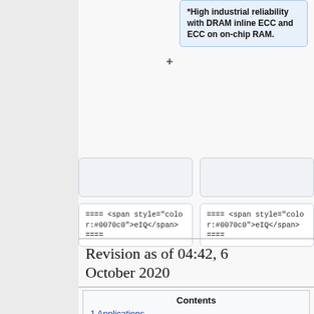*High industrial reliability with DRAM inline ECC and ECC on on-chip RAM.
==== <span style="color:#0070c0">eIQ</span> ====
==== <span style="color:#0070c0">eIQ</span> ====
Revision as of 04:42, 6 October 2020
Contents
1  Applications
1.1  Face Recognition
1.1.1  FaceView